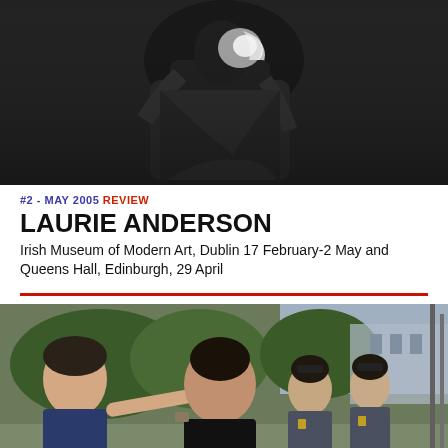[Figure (photo): Black and white photo of a performer (Laurie Anderson) on stage, dark background, figure caught in dramatic motion with bright light]
#2 - MAY 2005 REVIEW
LAURIE ANDERSON
Irish Museum of Modern Art, Dublin 17 February-2 May and Queens Hall, Edinburgh, 29 April
[Figure (photo): Color photo of a group of people, possibly a scene or still, with figures including a young man on the left and others in the background near greenery and a building]